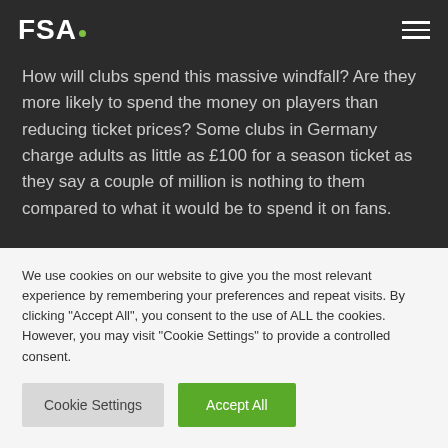FSA.
How will clubs spend this massive windfall? Are they more likely to spend the money on players than reducing ticket prices? Some clubs in Germany charge adults as little as £100 for a season ticket as they say a couple of million is nothing to them compared to what it would be to spend it on fans.
We use cookies on our website to give you the most relevant experience by remembering your preferences and repeat visits. By clicking "Accept All", you consent to the use of ALL the cookies. However, you may visit "Cookie Settings" to provide a controlled consent.